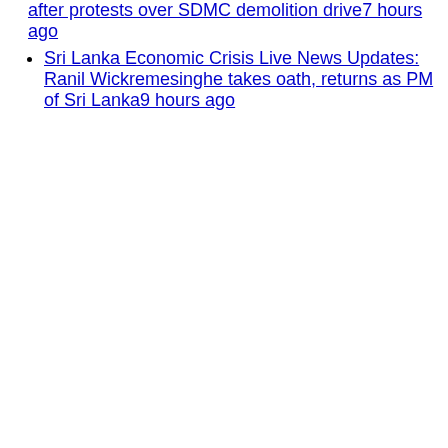after protests over SDMC demolition drive7 hours ago
Sri Lanka Economic Crisis Live News Updates: Ranil Wickremesinghe takes oath, returns as PM of Sri Lanka9 hours ago